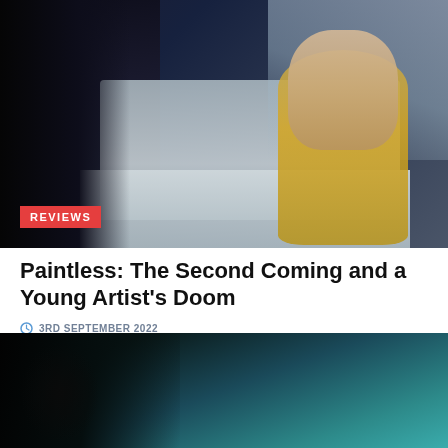[Figure (photo): A woman with long blonde wavy hair in a yellow floral dress sitting on a light-colored sofa, looking downward with hands clasped. A dark-clothed figure is seen from behind on the left. Dark teal background.]
REVIEWS
Paintless: The Second Coming and a Young Artist's Doom
3RD SEPTEMBER 2022
[Figure (photo): Dark atmospheric image showing a figure partially visible in shadow against a teal/dark teal background.]